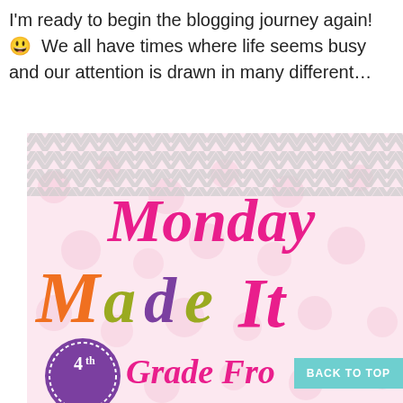I'm ready to begin the blogging journey again! 😊 We all have times where life seems busy and our attention is drawn in many different…
[Figure (illustration): Monday Made It logo with colorful lettering on a pink polka dot and grey chevron background, with '4th Grade Fro…' badge at the bottom left. A teal 'BACK TO TOP' button appears at bottom right.]